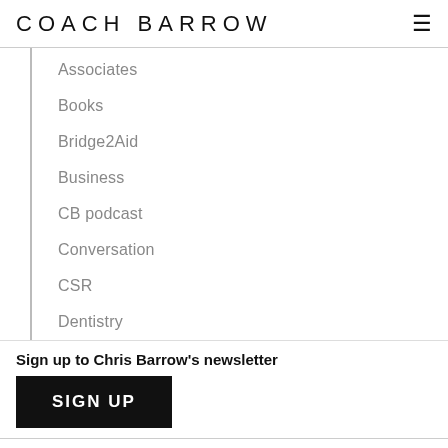COACH BARROW
Associates
Books
Bridge2Aid
Business
CB podcast
Conversation
CSR
Dentistry
Sign up to Chris Barrow's newsletter
SIGN UP
Copyright © Coach Barrow. All rights reserved. Privacy Policy
DENTAL WEBSITES BY
DENTAL FOCUS